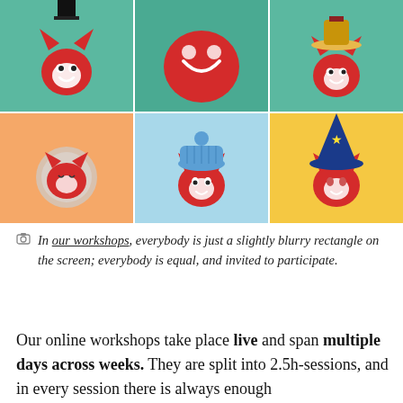[Figure (illustration): Six cartoon red fuzzy creature characters arranged in a 2x3 grid, each with a different hat or accessory: top hat (teal background), plain smiling blob (teal background), cowboy hat (teal/grey background), astronaut helmet (orange background), blue winter beanie (light blue background), wizard hat with star (yellow/orange background).]
In our workshops, everybody is just a slightly blurry rectangle on the screen; everybody is equal, and invited to participate.
Our online workshops take place live and span multiple days across weeks. They are split into 2.5h-sessions, and in every session there is always enough